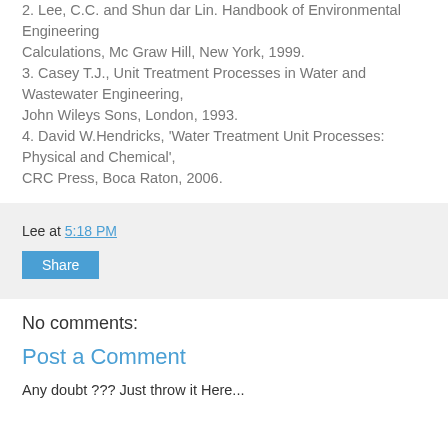2. Lee, C.C. and Shun dar Lin. Handbook of Environmental Engineering Calculations, Mc Graw Hill, New York, 1999.
3. Casey T.J., Unit Treatment Processes in Water and Wastewater Engineering, John Wileys Sons, London, 1993.
4. David W.Hendricks, 'Water Treatment Unit Processes: Physical and Chemical', CRC Press, Boca Raton, 2006.
Lee at 5:18 PM
Share
No comments:
Post a Comment
Any doubt ??? Just throw it Here...